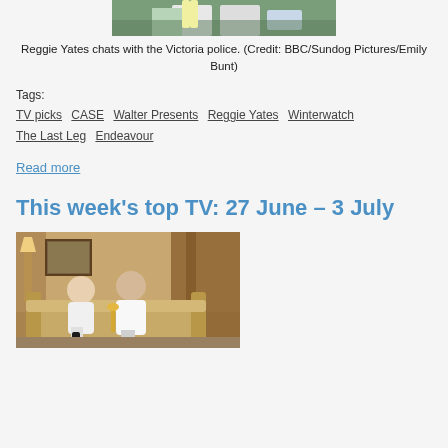[Figure (photo): Reggie Yates chatting with Victoria police officers in high-visibility vests, outdoors near a police vehicle]
Reggie Yates chats with the Victoria police. (Credit: BBC/Sundog Pictures/Emily Bunt)
Tags: TV picks  CASE  Walter Presents  Reggie Yates  Winterwatch  The Last Leg  Endeavour
Read more
This week's top TV: 27 June - 3 July
[Figure (photo): An elderly couple laughing and relaxing together on a sofa in a well-furnished living room]